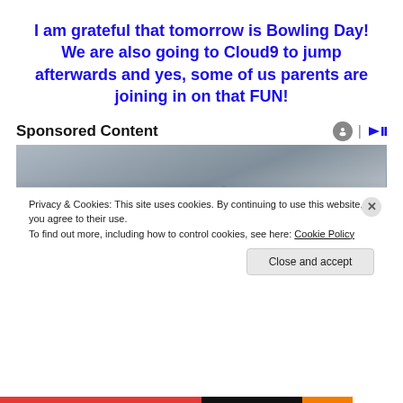I am grateful that tomorrow is Bowling Day! We are also going to Cloud9 to jump afterwards and yes, some of us parents are joining in on that FUN!
Sponsored Content
[Figure (photo): A person in a white lab coat (doctor) holding a pen, with a stethoscope visible around their neck.]
Privacy & Cookies: This site uses cookies. By continuing to use this website, you agree to their use.
To find out more, including how to control cookies, see here: Cookie Policy
Close and accept